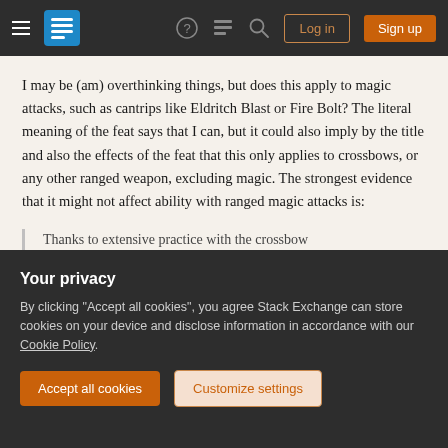Stack Exchange navigation bar with hamburger menu, logo, help, chat, search, Log in, Sign up
I may be (am) overthinking things, but does this apply to magic attacks, such as cantrips like Eldritch Blast or Fire Bolt? The literal meaning of the feat says that I can, but it could also imply by the title and also the effects of the feat that this only applies to crossbows, or any other ranged weapon, excluding magic. The strongest evidence that it might not affect ability with ranged magic attacks is:
Thanks to extensive practice with the crossbow
Your privacy
By clicking "Accept all cookies", you agree Stack Exchange can store cookies on your device and disclose information in accordance with our Cookie Policy.
Accept all cookies
Customize settings
Share | edited Jun 16, 2020 at 10:23